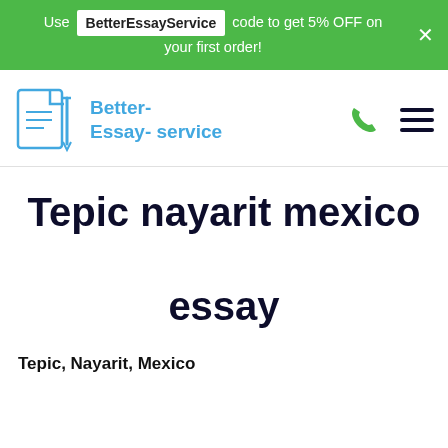Use BetterEssayService code to get 5% OFF on your first order!
[Figure (logo): Better-Essay-service logo with document and pen icon in blue]
Tepic nayarit mexico essay
Tepic, Nayarit, Mexico